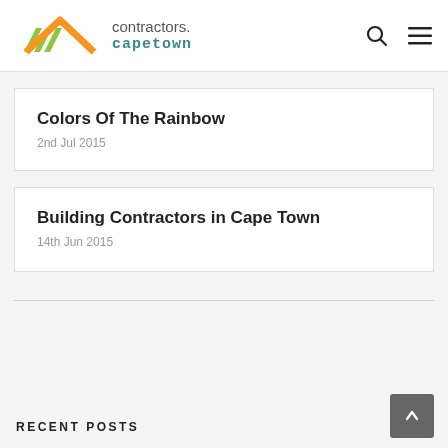contractors.capetown
Colors Of The Rainbow
2nd Jul 2015
Building Contractors in Cape Town
14th Jun 2015
RECENT POSTS